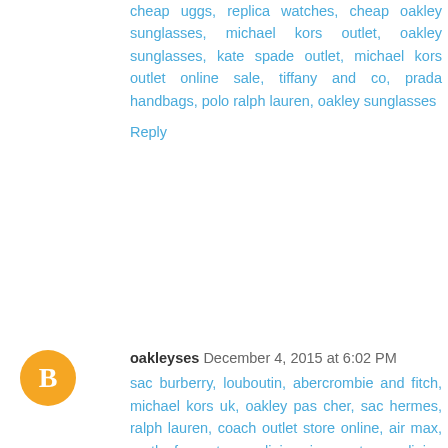cheap uggs, replica watches, cheap oakley sunglasses, michael kors outlet, oakley sunglasses, kate spade outlet, michael kors outlet online sale, tiffany and co, prada handbags, polo ralph lauren, oakley sunglasses
Reply
oakleyses December 4, 2015 at 6:02 PM
sac burberry, louboutin, abercrombie and fitch, michael kors uk, oakley pas cher, sac hermes, ralph lauren, coach outlet store online, air max, north face, true religion jeans, true religion outlet, mulberry, coach factory outlet, lululemon outlet online, ray ban pas cher, sac longchamp pas cher, timberland, air max pas cher, nike free pas cher, nike blazer, polo ralph lauren, air max, hollister, north face, longchamp, true religion outlet, nike air max, coach outlet, sac guess, air jordan, polo lacoste, converse pas cher, ray ban sunglasses, new balance pas cher, michael kors, michael kors outlet, vanessa bruno, vans pas cher, kate spade handbags, hollister, michael kors pas cher, hogan outlet, nike roshe run pas cher, nike air force, nike roshe, true religion jeans, nike tn, coach purses,